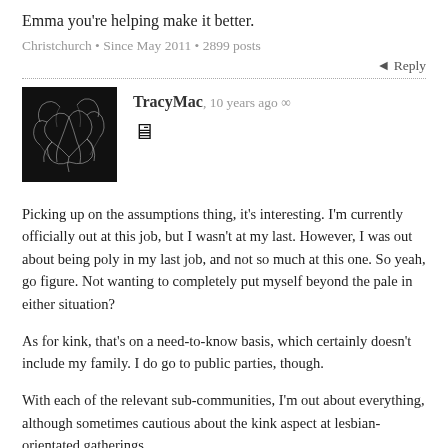Emma you're helping make it better.
Christchurch • Since May 2011 • 2899 posts
↩ Reply
TracyMac, 10 years ago ∞
[Figure (other): User avatar image showing abstract dark neural/fibrous pattern on black background]
🖥
Picking up on the assumptions thing, it's interesting. I'm currently officially out at this job, but I wasn't at my last. However, I was out about being poly in my last job, and not so much at this one. So yeah, go figure. Not wanting to completely put myself beyond the pale in either situation?
As for kink, that's on a need-to-know basis, which certainly doesn't include my family. I do go to public parties, though.
With each of the relevant sub-communities, I'm out about everything, although sometimes cautious about the kink aspect at lesbian-orientated gatherings.